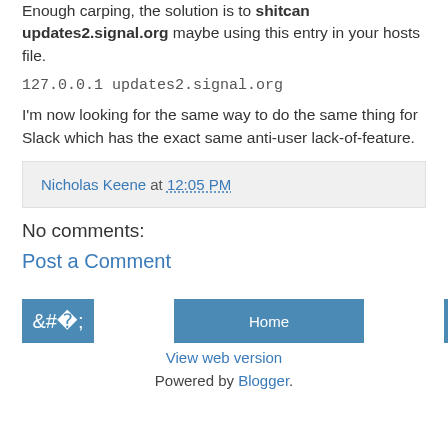Enough carping, the solution is to shitcan updates2.signal.org maybe using this entry in your hosts file.
127.0.0.1 updates2.signal.org
I'm now looking for the same way to do the same thing for Slack which has the exact same anti-user lack-of-feature.
Nicholas Keene at 12:05 PM
No comments:
Post a Comment
Home
View web version
Powered by Blogger.